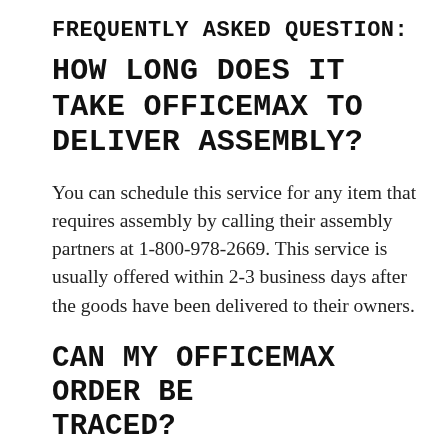FREQUENTLY ASKED QUESTION:
HOW LONG DOES IT TAKE OFFICEMAX TO DELIVER ASSEMBLY?
You can schedule this service for any item that requires assembly by calling their assembly partners at 1-800-978-2669. This service is usually offered within 2-3 business days after the goods have been delivered to their owners.
CAN MY OFFICEMAX ORDER BE TRACED?